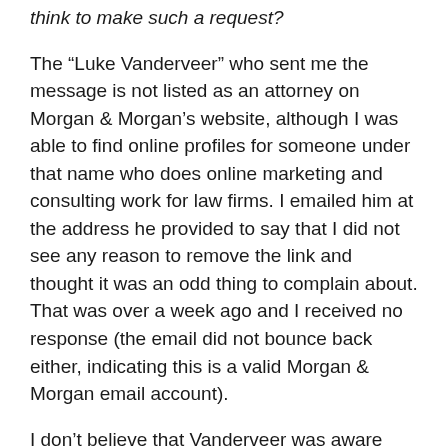think to make such a request?
The “Luke Vanderveer” who sent me the message is not listed as an attorney on Morgan & Morgan’s website, although I was able to find online profiles for someone under that name who does online marketing and consulting work for law firms. I emailed him at the address he provided to say that I did not see any reason to remove the link and thought it was an odd thing to complain about. That was over a week ago and I received no response (the email did not bounce back either, indicating this is a valid Morgan & Morgan email account).
I don’t believe that Vanderveer was aware that I used to practice law in Florida, or perhaps he would not have bothered to make such a ridiculous request. There is simply no legal basis to demand that I remove a link to a public page on their website when it was clearly just a factual reference; I linked Crist’s